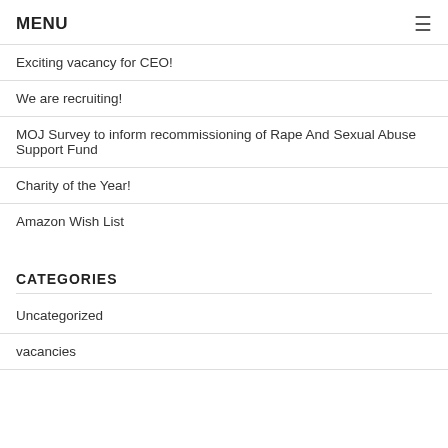MENU
Exciting vacancy for CEO!
We are recruiting!
MOJ Survey to inform recommissioning of Rape And Sexual Abuse Support Fund
Charity of the Year!
Amazon Wish List
CATEGORIES
Uncategorized
vacancies